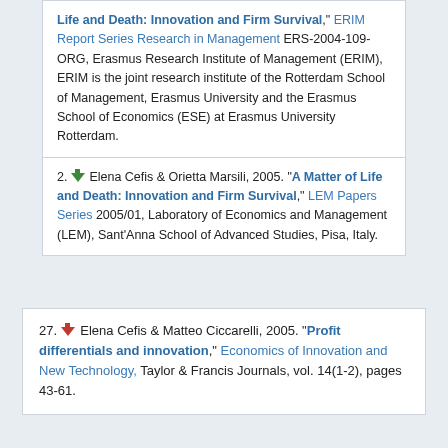Life and Death: Innovation and Firm Survival," ERIM Report Series Research in Management ERS-2004-109-ORG, Erasmus Research Institute of Management (ERIM), ERIM is the joint research institute of the Rotterdam School of Management, Erasmus University and the Erasmus School of Economics (ESE) at Erasmus University Rotterdam.
2. Elena Cefis & Orietta Marsili, 2005. "A Matter of Life and Death: Innovation and Firm Survival," LEM Papers Series 2005/01, Laboratory of Economics and Management (LEM), Sant'Anna School of Advanced Studies, Pisa, Italy.
27. Elena Cefis & Matteo Ciccarelli, 2005. "Profit differentials and innovation," Economics of Innovation and New Technology, Taylor & Francis Journals, vol. 14(1-2), pages 43-61.